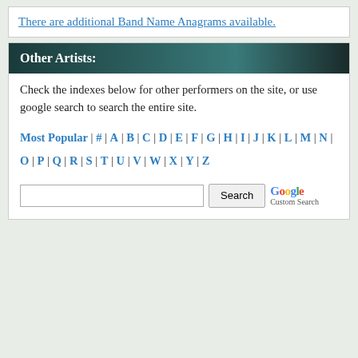There are additional Band Name Anagrams available.
Other Artists:
Check the indexes below for other performers on the site, or use google search to search the entire site.
Most Popular | # | A | B | C | D | E | F | G | H | I | J | K | L | M | N | O | P | Q | R | S | T | U | V | W | X | Y | Z